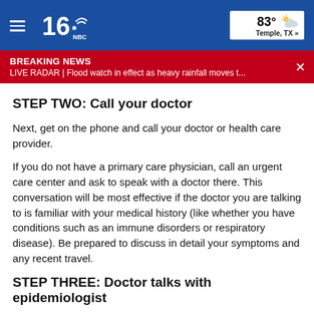[Figure (screenshot): News website top navigation bar with hamburger menu, KXAS/NBC DFW logo on blue background, and weather widget showing 83° Temple, TX]
BREAKING NEWS
LIVE RADAR | Flood watch in effect as heavy rainfall moves t...
STEP TWO: Call your doctor
Next, get on the phone and call your doctor or health care provider.
If you do not have a primary care physician, call an urgent care center and ask to speak with a doctor there. This conversation will be most effective if the doctor you are talking to is familiar with your medical history (like whether you have conditions such as an immune disorders or respiratory disease). Be prepared to discuss in detail your symptoms and any recent travel.
STEP THREE: Doctor talks with epidemiologist
If the doctor thinks a COVID-19 test may be warranted, the